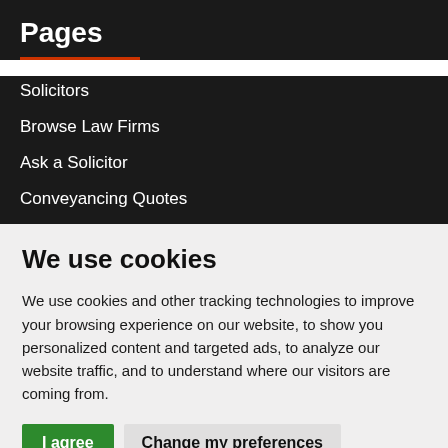Pages
Solicitors
Browse Law Firms
Ask a Solicitor
Conveyancing Quotes
We use cookies
We use cookies and other tracking technologies to improve your browsing experience on our website, to show you personalized content and targeted ads, to analyze our website traffic, and to understand where our visitors are coming from.
I agree | Change my preferences